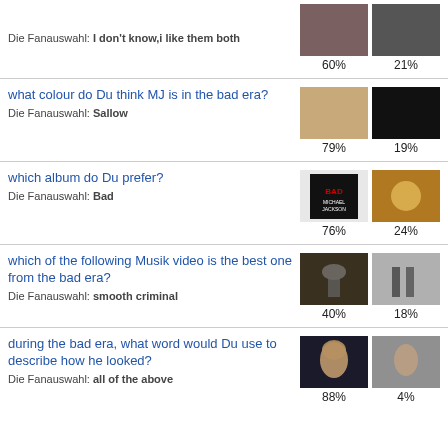Die Fanauswahl: I don't know,i like them both | 60% | 21%
what colour do Du think MJ is in the bad era? Die Fanauswahl: Sallow | 79% | 19%
which album do Du prefer? Die Fanauswahl: Bad | 76% | 24%
which of the following Musik video is the best one from the bad era? Die Fanauswahl: smooth criminal | 40% | 18%
during the bad era, what word would Du use to describe how he looked? Die Fanauswahl: all of the above | 88% | 4%